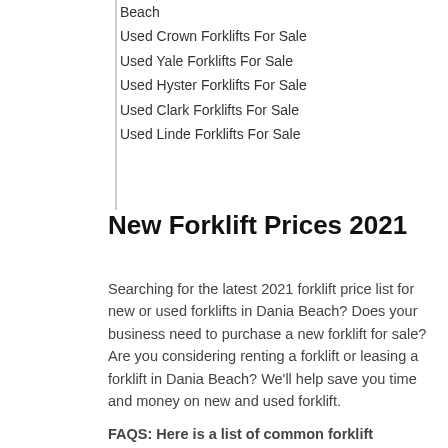Beach
Used Crown Forklifts For Sale
Used Yale Forklifts For Sale
Used Hyster Forklifts For Sale
Used Clark Forklifts For Sale
Used Linde Forklifts For Sale
New Forklift Prices 2021
Searching for the latest 2021 forklift price list for new or used forklifts in Dania Beach? Does your business need to purchase a new forklift for sale? Are you considering renting a forklift or leasing a forklift in Dania Beach? We’ll help save you time and money on new and used forklift.
FAQS: Here is a list of common forklift questions asked by our customers which